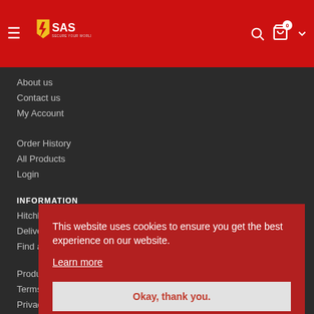SAS - Secure Your World
About us
Contact us
My Account
Order History
All Products
Login
INFORMATION
Hitchlock Fitting Wheelchair Fitting
Delivery | Returns
Find a Dealer
Product Warranty
Terms & Conditions
Privacy Policy
This website uses cookies to ensure you get the best experience on our website.
Learn more
Okay, thank you.